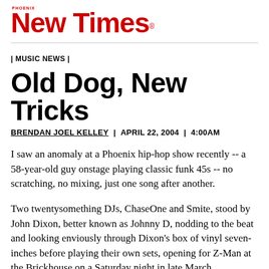[Figure (logo): Phoenix New Times logo in red, with 'PHOENIX' in small text above 'New Times' in large bold red font]
| MUSIC NEWS |
Old Dog, New Tricks
BRENDAN JOEL KELLEY | APRIL 22, 2004 | 4:00AM
I saw an anomaly at a Phoenix hip-hop show recently -- a 58-year-old guy onstage playing classic funk 45s -- no scratching, no mixing, just one song after another.
Two twentysomething DJs, ChaseOne and Smite, stood by John Dixon, better known as Johnny D, nodding to the beat and looking enviously through Dixon's box of vinyl seven-inches before playing their own sets, opening for Z-Man at the Brickhouse on a Saturday night in late March.